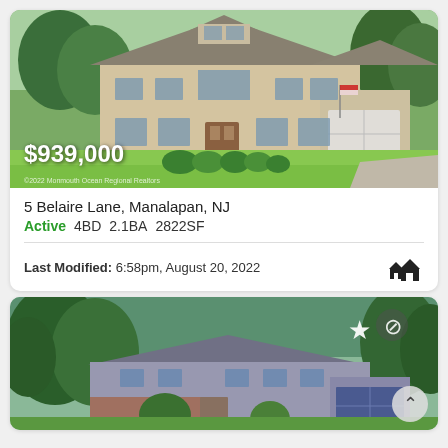[Figure (photo): Exterior photo of a two-story colonial house with large lawn, beige siding, arched windows, and attached garage]
$939,000
©2022 Monmouth Ocean Regional Realtors
5 Belaire Lane, Manalapan, NJ
Active   4BD   2.1BA   2822SF
Last Modified: 6:58pm, August 20, 2022
[Figure (photo): Exterior photo of a split-level house with brick and blue siding, attached blue garage door, and lush green trees in background]